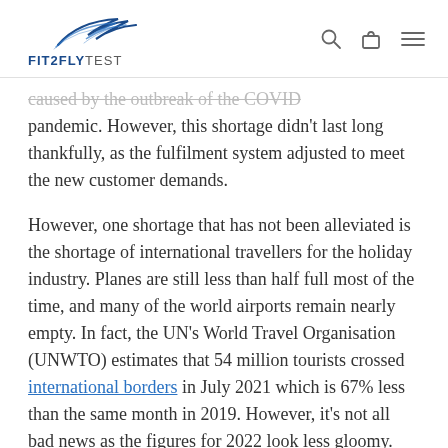FIT2FLYTEST
caused by the outbreak of the COVID pandemic. However, this shortage didn't last long thankfully, as the fulfilment system adjusted to meet the new customer demands.
However, one shortage that has not been alleviated is the shortage of international travellers for the holiday industry. Planes are still less than half full most of the time, and many of the world airports remain nearly empty. In fact, the UN's World Travel Organisation (UNWTO) estimates that 54 million tourists crossed international borders in July 2021 which is 67% less than the same month in 2019. However, it's not all bad news as the figures for 2022 look less gloomy.